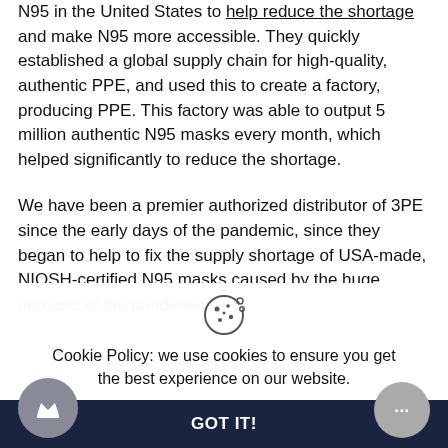N95 in the United States to help reduce the shortage and make N95 more accessible. They quickly established a global supply chain for high-quality, authentic PPE, and used this to create a factory, producing PPE. This factory was able to output 5 million authentic N95 masks every month, which helped significantly to reduce the shortage.
We have been a premier authorized distributor of 3PE since the early days of the pandemic, since they began to help to fix the supply shortage of USA-made, NIOSH-certified N95 masks caused by the huge demand of the pandemic. N95
Cookie Policy: we use cookies to ensure you get the best experience on our website.
GOT IT!